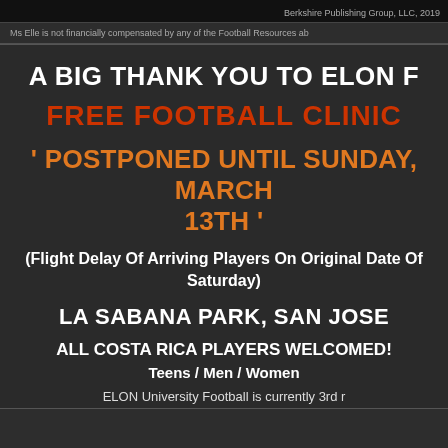Berkshire Publishing Group, LLC, 2019
Ms Elle is not financially compensated by any of the Football Resources ab
A BIG THANK YOU TO ELON F
FREE FOOTBALL CLINIC
' POSTPONED UNTIL SUNDAY, MARCH 13TH '
(Flight Delay Of Arriving Players On Original Date Of Saturday)
LA SABANA PARK, SAN JOSE
ALL COSTA RICA PLAYERS WELCOMED!
Teens / Men / Women
ELON University Football is currently 3rd r